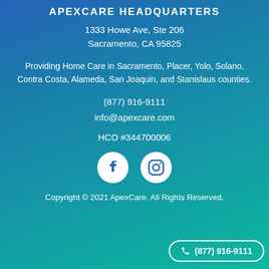APEXCARE HEADQUARTERS
1333 Howe Ave, Ste 206
Sacramento, CA 95825
Providing Home Care in Sacramento, Placer, Yolo, Solano, Contra Costa, Alameda, San Joaquin, and Stanislaus counties.
(877) 916-9111
info@apexcare.com
HCO #344700006
[Figure (logo): Facebook and Instagram social media icons in white circles]
Copyright © 2021 ApexCare. All Rights Reserved.
(877) 916-9111